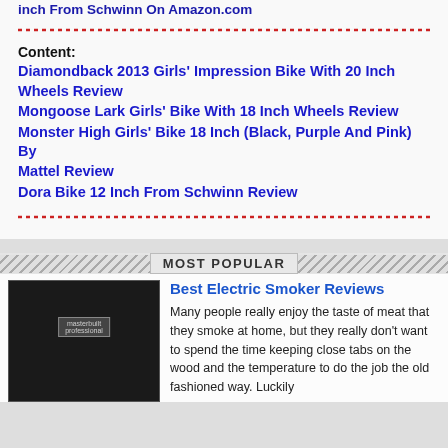inch From Schwinn On Amazon.com
Content:
Diamondback 2013 Girls' Impression Bike With 20 Inch Wheels Review
Mongoose Lark Girls' Bike With 18 Inch Wheels Review
Monster High Girls' Bike 18 Inch (Black, Purple And Pink) By Mattel Review
Dora Bike 12 Inch From Schwinn Review
MOST POPULAR
Best Electric Smoker Reviews
Many people really enjoy the taste of meat that they smoke at home, but they really don't want to spend the time keeping close tabs on the wood and the temperature to do the job the old fashioned way. Luckily